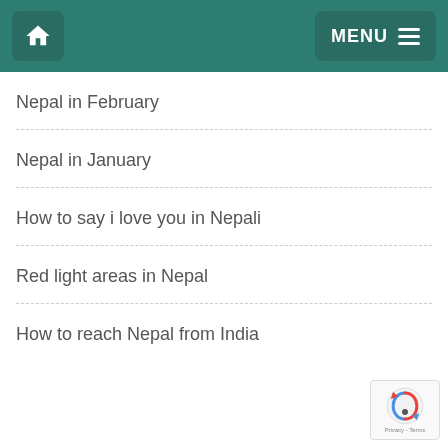Home | MENU
Nepal in February
Nepal in January
How to say i love you in Nepali
Red light areas in Nepal
How to reach Nepal from India